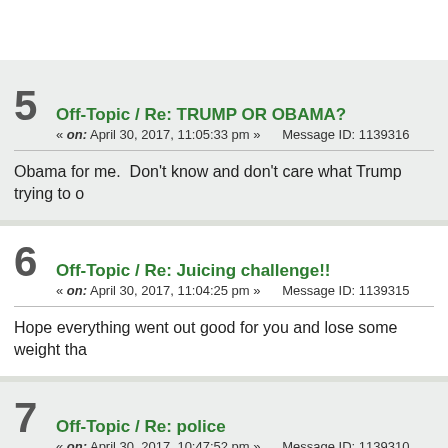(partial post content cut off at top)
5  Off-Topic / Re: TRUMP OR OBAMA?
« on: April 30, 2017, 11:05:33 pm »   Message ID: 1139316
Obama for me.  Don't know and don't care what Trump trying to o
6  Off-Topic / Re: Juicing challenge!!
« on: April 30, 2017, 11:04:25 pm »   Message ID: 1139315
Hope everything went out good for you and lose some weight tha
7  Off-Topic / Re: police
« on: April 30, 2017, 10:47:52 pm »   Message ID: 1139310
There are good and bad out there.  Cannot say all of them are lik